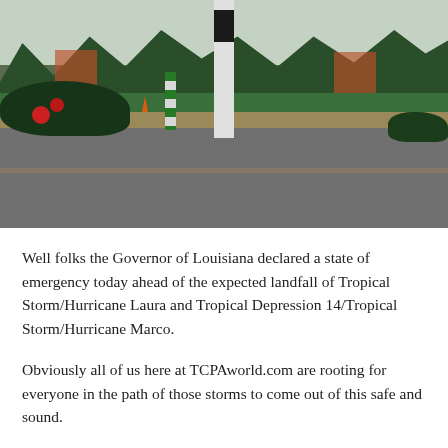[Figure (photo): Outdoor street scene with palm trees, a white and black vertical pole in the center, a short green and white striped bollard, red/orange buildings partially obscured by dark green trees, foreground bushes with red flowers, a road, and a concrete median. Dusk or overcast lighting.]
Well folks the Governor of Louisiana declared a state of emergency today ahead of the expected landfall of Tropical Storm/Hurricane Laura and Tropical Depression 14/Tropical Storm/Hurricane Marco.
Obviously all of us here at TCPAworld.com are rooting for everyone in the path of those storms to come out of this safe and sound.
For callers–particularly marketers–making calls to